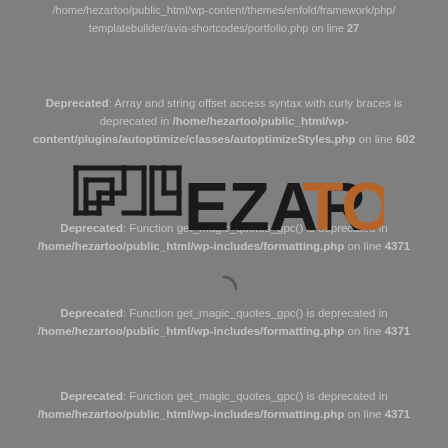templatebuilder/avia-shortcodes/portfolio.php on line 27
Deprecated: Array and string offset access syntax with curly braces is deprecated in /home/hezartoo/public_html/wp-content/plugins/autoptimize/classes/autoptimizeStyles.php on line 602
Deprecated: Function get_magic_quotes_gpc() is deprecated in /home/hezartoo/public_html/wp-includes/formatting.php on line 4371
[Figure (logo): Hezartoo logo with maze-like icon in black on the left and 'EZAR' in black bold text followed by 'TOO' in orange/brown bold text]
Deprecated: Function get_magic_quotes_gpc() is deprecated in /home/hezartoo/public_html/wp-includes/formatting.php on line 4371
Deprecated: Function get_magic_quotes_gpc() is deprecated in /home/hezartoo/public_html/wp-includes/formatting.php on line 4371
Deprecated: Function get_magic_quotes_gpc() is deprecated in /home/hezartoo/public_html/wp-includes/formatting.php on line 4371